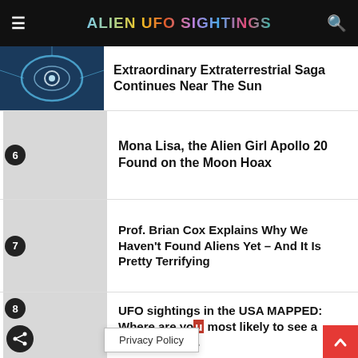ALIEN UFO SIGHTINGS
Extraordinary Extraterrestrial Saga Continues Near The Sun
Mona Lisa, the Alien Girl Apollo 20 Found on the Moon Hoax
Prof. Brian Cox Explains Why We Haven't Found Aliens Yet – And It Is Pretty Terrifying
UFO sightings in the USA MAPPED: Where are you most likely to see a craft in the h...